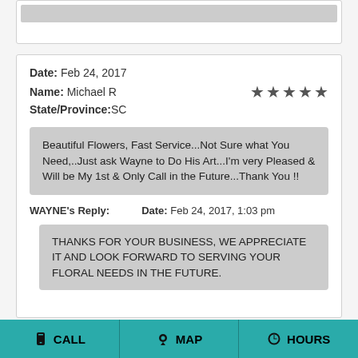Date: Feb 24, 2017
Name: Michael R
State/Province: SC
★★★★★
Beautiful Flowers, Fast Service...Not Sure what You Need,..Just ask Wayne to Do His Art...I'm very Pleased & Will be My 1st & Only Call in the Future...Thank You !!
WAYNE's Reply:    Date: Feb 24, 2017, 1:03 pm
THANKS FOR YOUR BUSINESS, WE APPRECIATE IT AND LOOK FORWARD TO SERVING YOUR FLORAL NEEDS IN THE FUTURE.
CALL   MAP   HOURS